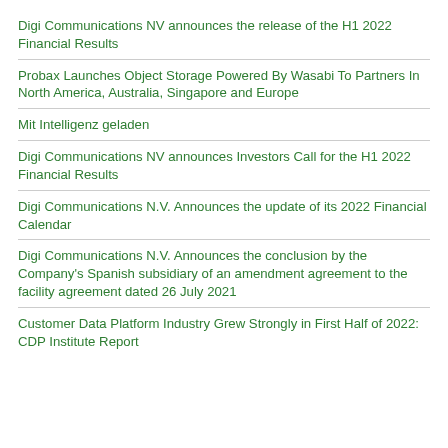Digi Communications NV announces the release of the H1 2022 Financial Results
Probax Launches Object Storage Powered By Wasabi To Partners In North America, Australia, Singapore and Europe
Mit Intelligenz geladen
Digi Communications NV announces Investors Call for the H1 2022 Financial Results
Digi Communications N.V. Announces the update of its 2022 Financial Calendar
Digi Communications N.V. Announces the conclusion by the Company's Spanish subsidiary of an amendment agreement to the facility agreement dated 26 July 2021
Customer Data Platform Industry Grew Strongly in First Half of 2022: CDP Institute Report